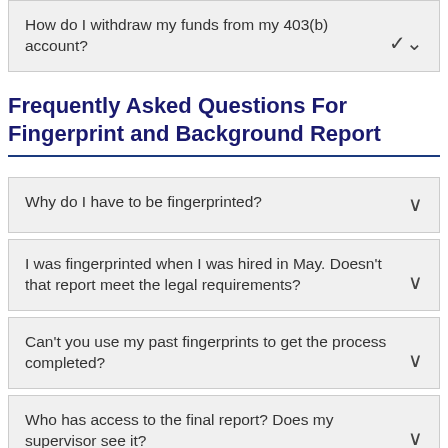How do I withdraw my funds from my 403(b) account?
Frequently Asked Questions For Fingerprint and Background Report
Why do I have to be fingerprinted?
I was fingerprinted when I was hired in May. Doesn’t that report meet the legal requirements?
Can’t you use my past fingerprints to get the process completed?
Who has access to the final report? Does my supervisor see it?
I am not a certificated employee, and I think I have been fingerprinted more recently than 5 years ago. Do